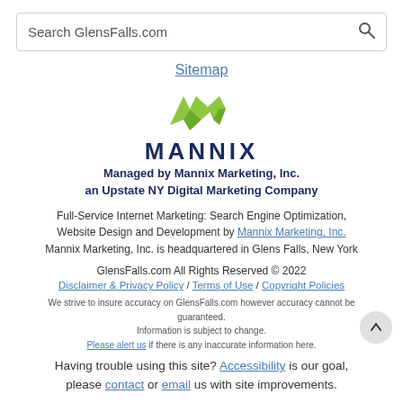Search GlensFalls.com
Sitemap
[Figure (logo): Mannix Marketing logo with green M shapes and blue MANNIX text]
Managed by Mannix Marketing, Inc. an Upstate NY Digital Marketing Company
Full-Service Internet Marketing: Search Engine Optimization, Website Design and Development by Mannix Marketing, Inc. Mannix Marketing, Inc. is headquartered in Glens Falls, New York
GlensFalls.com All Rights Reserved © 2022
Disclaimer & Privacy Policy / Terms of Use / Copyright Policies
We strive to insure accuracy on GlensFalls.com however accuracy cannot be guaranteed. Information is subject to change. Please alert us if there is any inaccurate information here.
Having trouble using this site? Accessibility is our goal, please contact or email us with site improvements.